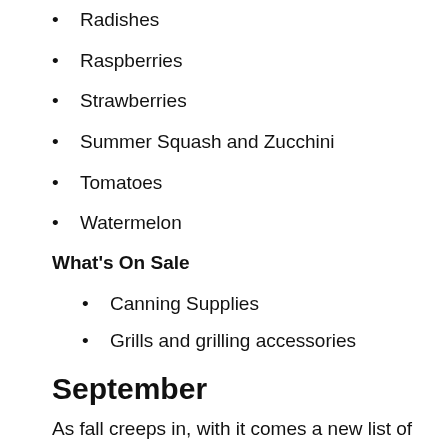Radishes
Raspberries
Strawberries
Summer Squash and Zucchini
Tomatoes
Watermelon
What's On Sale
Canning Supplies
Grills and grilling accessories
September
As fall creeps in, with it comes a new list of in-